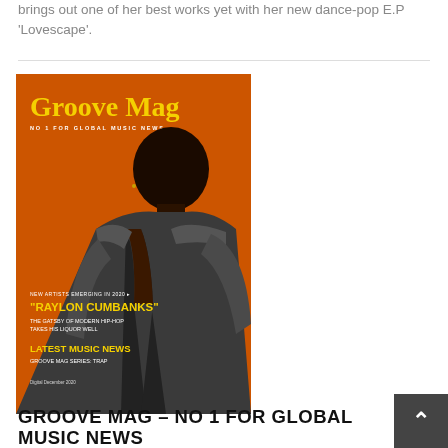brings out one of her best works yet with her new dance-pop E.P 'Lovescape'.
[Figure (photo): Groove Mag magazine cover with orange background featuring a young man in a denim jacket. Cover text includes 'Groove Mag', 'NO 1 FOR GLOBAL MUSIC NEWS', 'NEW ARTISTS EMERGING IN 2020', '"RAYLON CUMBANKS"', 'THE GATSBY OF MODERN HIP-HOP TAKES HIS LIQUOR WELL', 'LATEST MUSIC NEWS', 'GROOVE MAG SERIES: TRAP', 'Digital December 2020']
GROOVE MAG – NO 1 FOR GLOBAL MUSIC NEWS